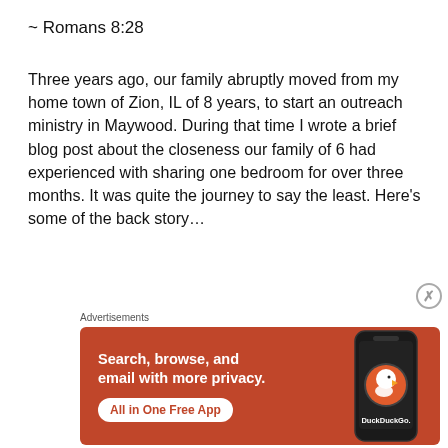~ Romans 8:28
Three years ago, our family abruptly moved from my home town of Zion, IL of 8 years, to start an outreach ministry in Maywood. During that time I wrote a brief blog post about the closeness our family of 6 had experienced with sharing one bedroom for over three months. It was quite the journey to say the least. Here’s some of the back story…
Advertisements
[Figure (other): DuckDuckGo advertisement banner: orange background with white text 'Search, browse, and email with more privacy.' and white button 'All in One Free App', alongside a phone image showing the DuckDuckGo logo and app name.]